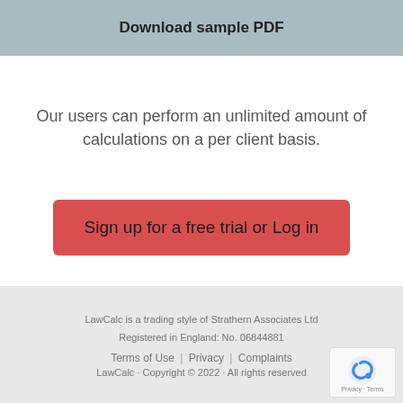Download sample PDF
Our users can perform an unlimited amount of calculations on a per client basis.
Sign up for a free trial or Log in
LawCalc is a trading style of Strathern Associates Ltd
Registered in England: No. 06844881
Terms of Use | Privacy | Complaints
LawCalc · Copyright © 2022 · All rights reserved